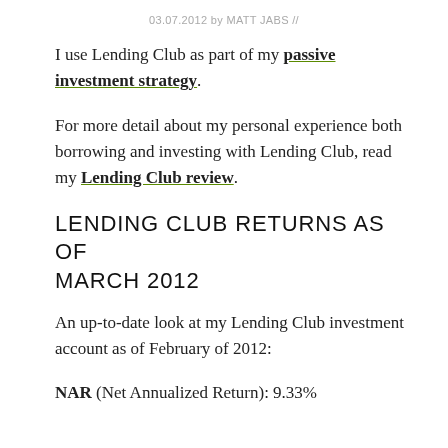03.07.2012 by MATT JABS //
I use Lending Club as part of my passive investment strategy.
For more detail about my personal experience both borrowing and investing with Lending Club, read my Lending Club review.
LENDING CLUB RETURNS AS OF MARCH 2012
An up-to-date look at my Lending Club investment account as of February of 2012:
NAR (Net Annualized Return): 9.33%